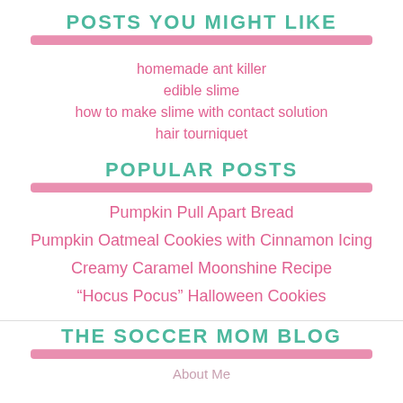POSTS YOU MIGHT LIKE
homemade ant killer
edible slime
how to make slime with contact solution
hair tourniquet
POPULAR POSTS
Pumpkin Pull Apart Bread
Pumpkin Oatmeal Cookies with Cinnamon Icing
Creamy Caramel Moonshine Recipe
“Hocus Pocus” Halloween Cookies
THE SOCCER MOM BLOG
About Me